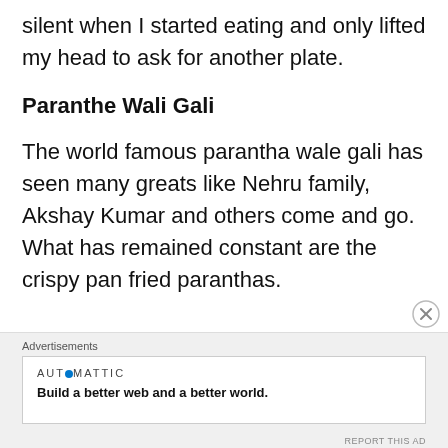silent when I started eating and only lifted my head to ask for another plate.
Paranthe Wali Gali
The world famous parantha wale gali has seen many greats like Nehru family, Akshay Kumar and others come and go. What has remained constant are the crispy pan fried paranthas.
Advertisements
AUTOMATTIC
Build a better web and a better world.